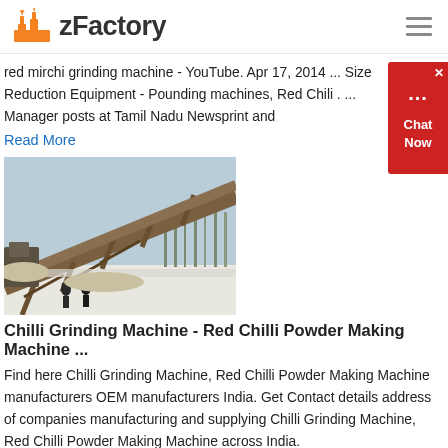zFactory
red mirchi grinding machine - YouTube. Apr 17, 2014 ... Size Reduction Equipment - Pounding machines, Red Chili . ... Manager posts at Tamil Nadu Newsprint and
Read More
[Figure (photo): Industrial conveyor belt system at a mining or quarry site in snowy/winter conditions with people visible in the foreground]
Chilli Grinding Machine - Red Chilli Powder Making Machine ...
Find here Chilli Grinding Machine, Red Chilli Powder Making Machine manufacturers OEM manufacturers India. Get Contact details address of companies manufacturing and supplying Chilli Grinding Machine, Red Chilli Powder Making Machine across India.
Read More
[Figure (photo): Partial view of another industrial/mining image at the bottom of the page (cropped)]